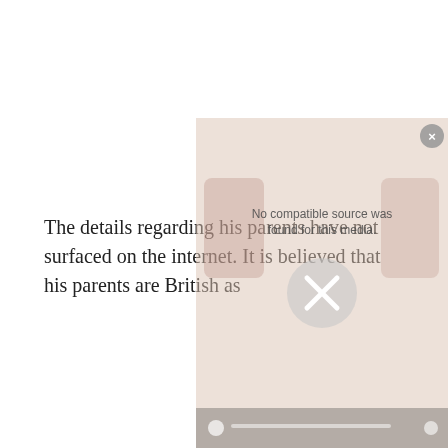The details regarding his parents have not surfaced on the internet. It is believed that his parents are British as
[Figure (screenshot): A video player overlay showing 'No compatible source was found for this media.' with an X close button and a dismiss (X circle) button. The background shows a blurred/faded pinkish image with media control icons at the bottom.]